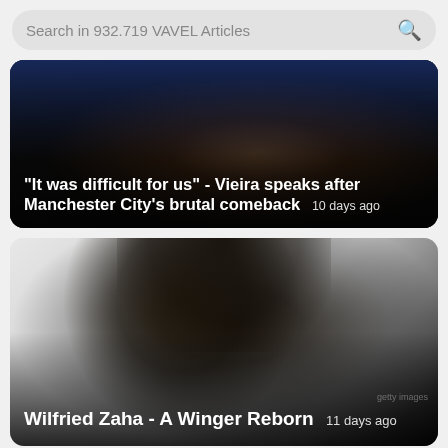Search in 932.719 VAVEL Articles
[Figure (photo): Dark close-up photo of a man's face against a blue background, with white material visible. Headline overlay reads: "It was difficult for us" - Vieira speaks after Manchester City's brutal comeback. 10 days ago]
[Figure (photo): Portrait photo of Wilfried Zaha in profile/side view against a bright white background, his face in shadow/silhouette. Headline overlay reads: Wilfried Zaha - A Winger Reborn. 11 days ago]